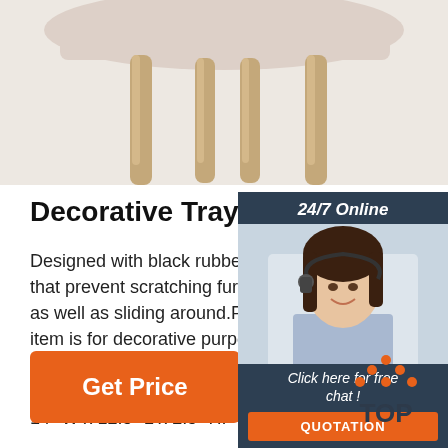[Figure (photo): Underside of a chair with wooden legs and pink/beige seat, cropped view from below]
Decorative Trays You'll Love in
Designed with black rubber stoppers a... that prevent scratching furniture and ta... as well as sliding around.Please note item is for decorative purpose use onl... not food safe.This item ships in one ca... Material: Metal. Food Safe: No. Overa... 14" W x 12.5" L x 2.5" H.
[Figure (photo): Customer service agent woman with headset smiling, 24/7 Online chat widget with dark navy background, Click here for free chat button, orange QUOTATION button]
[Figure (logo): TOP logo with orange dots arranged in triangle above text TOP in dark color]
Get Price